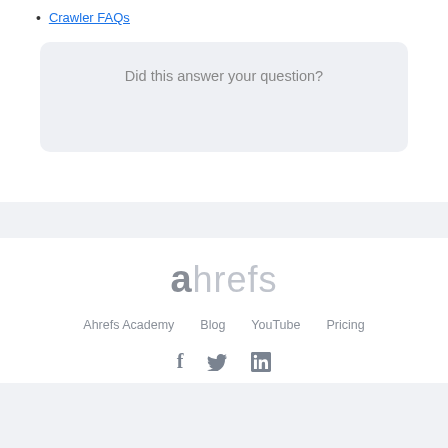Crawler FAQs
Did this answer your question?
[Figure (logo): Ahrefs logo in light gray]
Ahrefs Academy  Blog  YouTube  Pricing